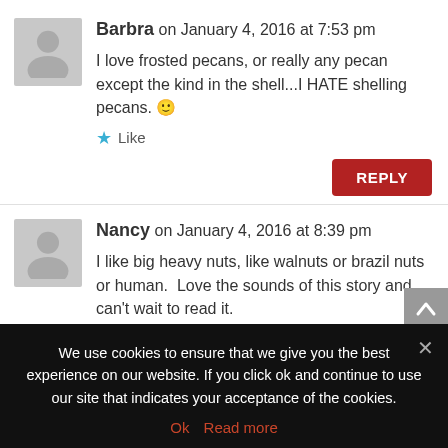Barbra on January 4, 2016 at 7:53 pm
I love frosted pecans, or really any pecan except the kind in the shell...I HATE shelling pecans. 🙂
Like
REPLY
Nancy on January 4, 2016 at 8:39 pm
I like big heavy nuts, like walnuts or brazil nuts or human.  Love the sounds of this story and can't wait to read it.
Like
We use cookies to ensure that we give you the best experience on our website. If you click ok and continue to use our site that indicates your acceptance of the cookies.
Ok  Read more